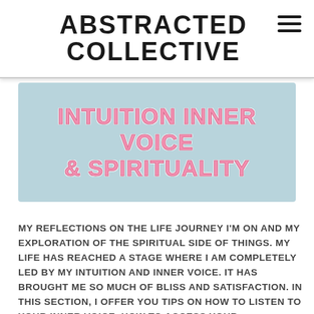ABSTRACTED COLLECTIVE
INTUITION INNER VOICE & SPIRITUALITY
MY REFLECTIONS ON THE LIFE JOURNEY I'M ON AND MY EXPLORATION OF THE SPIRITUAL SIDE OF THINGS. MY LIFE HAS REACHED A STAGE WHERE I AM COMPLETELY LED BY MY INTUITION AND INNER VOICE. IT HAS BROUGHT ME SO MUCH OF BLISS AND SATISFACTION. IN THIS SECTION, I OFFER YOU TIPS ON HOW TO LISTEN TO YOUR INNER VOICE, HOW TO ACCESS YOUR INTUITION/WHERE IT COMES FROM, HOW TO APPLY THE LAW OF ATTRACTION AND TEACHINGS OF THE UNIVERSE IN YOUR LIFE